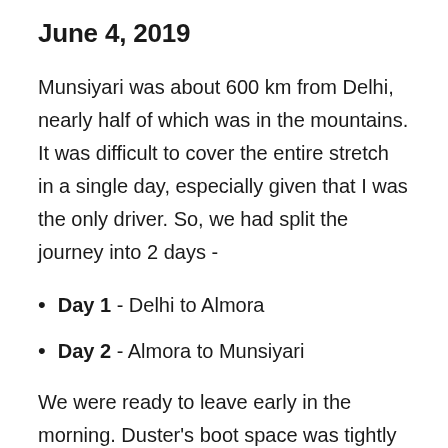June 4, 2019
Munsiyari was about 600 km from Delhi, nearly half of which was in the mountains. It was difficult to cover the entire stretch in a single day, especially given that I was the only driver. So, we had split the journey into 2 days -
Day 1 - Delhi to Almora
Day 2 - Almora to Munsiyari
We were ready to leave early in the morning. Duster's boot space was tightly loaded and we were wondering if we had packed too much for the trip. Trekking gear, laptop bags, food items and extra water bottles were a few items we might not